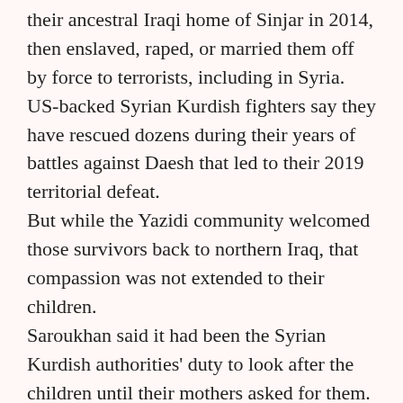their ancestral Iraqi home of Sinjar in 2014, then enslaved, raped, or married them off by force to terrorists, including in Syria.
US-backed Syrian Kurdish fighters say they have rescued dozens during their years of battles against Daesh that led to their 2019 territorial defeat.
But while the Yazidi community welcomed those survivors back to northern Iraq, that compassion was not extended to their children.
Saroukhan said it had been the Syrian Kurdish authorities' duty to look after the children until their mothers asked for them.
Yazidi women and children have previously returned from Syria to Iraq, but many of those abducted remain missing.
In May last year, a then 17-year-old Yazidi girl abducted by Daesh returned to Iraq after the coronavirus lockdown in Syria delayed her homecoming.